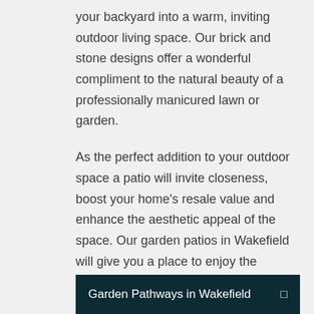your backyard into a warm, inviting outdoor living space. Our brick and stone designs offer a wonderful compliment to the natural beauty of a professionally manicured lawn or garden.
As the perfect addition to your outdoor space a patio will invite closeness, boost your home's resale value and enhance the aesthetic appeal of the space. Our garden patios in Wakefield will give you a place to enjoy the outdoors with friends and family. This inviting environment can also inspire better conversations, friendly gatherings, and more focus on the outdoors.
Garden Pathways in Wakefield